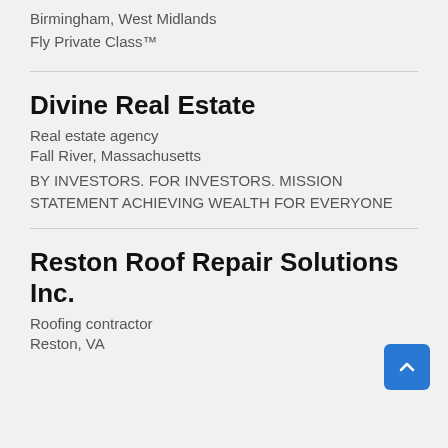Birmingham, West Midlands
Fly Private Class™
Divine Real Estate
Real estate agency
Fall River, Massachusetts
BY INVESTORS. FOR INVESTORS. MISSION STATEMENT ACHIEVING WEALTH FOR EVERYONE
Reston Roof Repair Solutions Inc.
Roofing contractor
Reston, VA